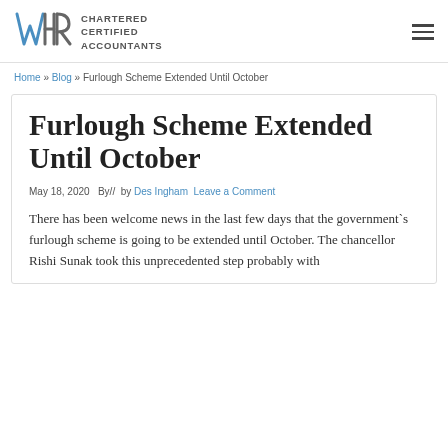WHR CHARTERED CERTIFIED ACCOUNTANTS
Home » Blog » Furlough Scheme Extended Until October
Furlough Scheme Extended Until October
May 18, 2020   By//  by Des Ingham   Leave a Comment
There has been welcome news in the last few days that the government`s furlough scheme is going to be extended until October. The chancellor Rishi Sunak took this unprecedented step probably with